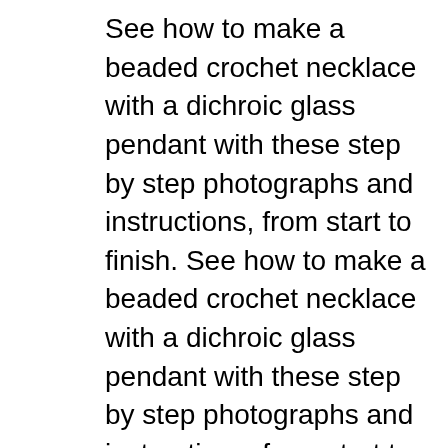See how to make a beaded crochet necklace with a dichroic glass pendant with these step by step photographs and instructions, from start to finish. See how to make a beaded crochet necklace with a dichroic glass pendant with these step by step photographs and instructions, from start to finish. the bead is going to fall to the back of your 31 Beautiful Rope Necklace Patterns. by . 6. SHARES. 702. VIEWS. Share Tweet Instructions to Make a Leather Rope Necklace. Leather Rope Necklace. How to Make a Rope Necklace? DIY Rope Necklace. DIY Mix Media Decorated Rope Necklace. 27 Crochet Coaster Patterns To Take Inspiration From;